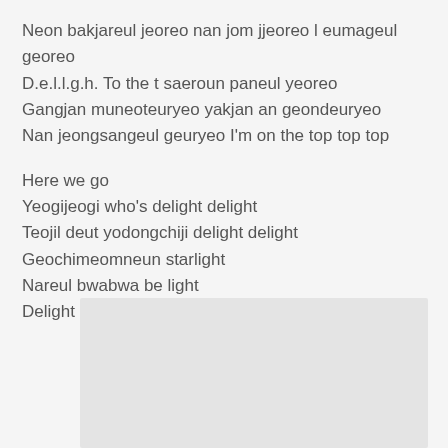Neon bakjareul jeoreo nan jom jjeoreo l eumageul georeo
D.e.l.l.g.h. To the t saeroun paneul yeoreo
Gangjan muneoteuryeo yakjan an geondeuryeo
Nan jeongsangeul geuryeo I'm on the top top top
Here we go
Yeogijeogi who's delight delight
Teojil deut yodongchiji delight delight
Geochimeomneun starlight
Nareul bwabwa be light
Delight delight delight delight
[Figure (other): A light gray rectangular placeholder image area]